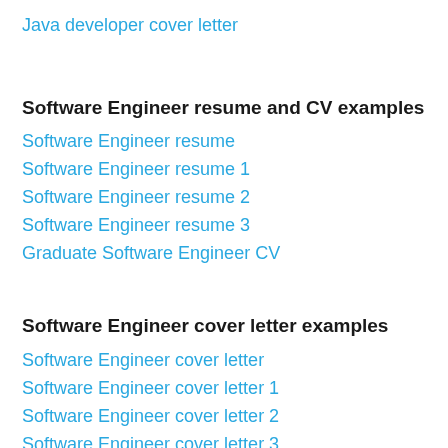Java developer cover letter
Software Engineer resume and CV examples
Software Engineer resume
Software Engineer resume 1
Software Engineer resume 2
Software Engineer resume 3
Graduate Software Engineer CV
Software Engineer cover letter examples
Software Engineer cover letter
Software Engineer cover letter 1
Software Engineer cover letter 2
Software Engineer cover letter 3